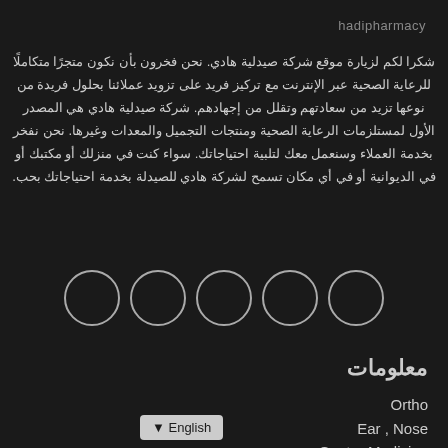hadipharmacy
شكرا لكم لزيارة موقع شركة صيدلية هادي. نحن فخرون بأن نكون متجرًا متكاملًا للرعاية الصحية عبر الإنترنت مع تركيز فريد على تزويد عملائنا بحلول فريدة من نوعها تزيد من سعادتهم وتقلل من إجهادهم. شركة صيدلية هادي هي المصدر الأول لمستلزمات الرعاية الصحية ومنتجات التجميل والمعدات وغيرها. نحن نفخر بخدمة العملاء وسنعمل معك لتلبية احتياجاتك. سواء كنت في منزلك أو مكتبك أو في الديوانية أو في أي مكان تسمح لشركة هادي للصيدلة بخدمة احتياجاتك بحب.
[Figure (illustration): Five circles in a row, outlines only, on dark background]
معلومات
Ortho
Ear , Nose
Gastro Medicine